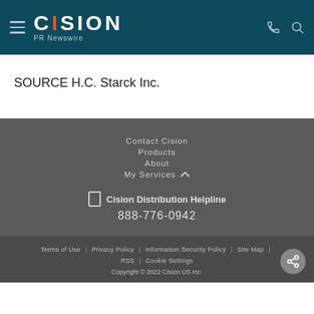CISION PR Newswire
SOURCE H.C. Starck Inc.
Contact Cision
Products
About
My Services
Cision Distribution Helpline 888-776-0942
Terms of Use | Privacy Policy | Information Security Policy | Site Map | RSS | Cookie Settings Copyright © 2022 Cision US Inc.